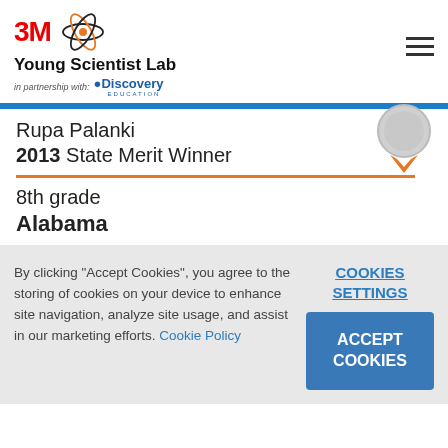[Figure (logo): 3M Young Scientist Lab logo with atom graphic and Discovery Education partnership]
Rupa Palanki
2013 State Merit Winner
8th grade
Alabama
By clicking "Accept Cookies", you agree to the storing of cookies on your device to enhance site navigation, analyze site usage, and assist in our marketing efforts. Cookie Policy
COOKIES SETTINGS
ACCEPT COOKIES